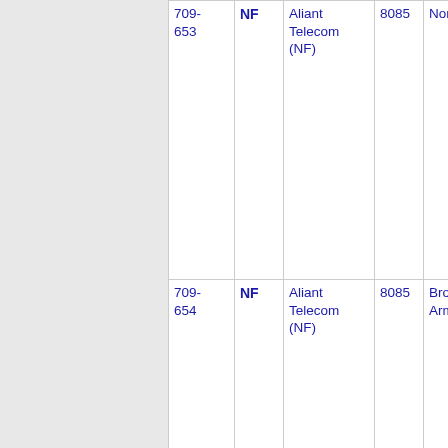|  |  | Aliant Telecom (NF) |  |  |
| --- | --- | --- | --- | --- |
| 709-653 | NF | Aliant Telecom (NF) | 8085 | Norris Arm |
| 709-654 | NF | Aliant Telecom (NF) | 8085 | Brown's Arm |